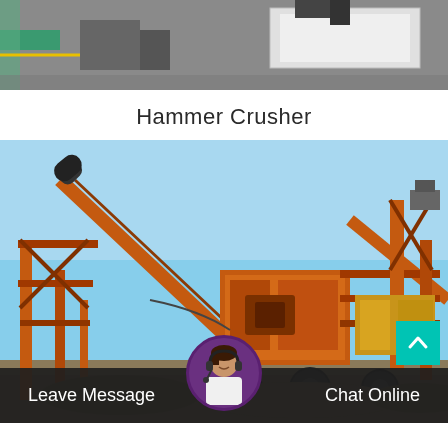[Figure (photo): Top partial view of industrial equipment in a warehouse/factory setting with grey floor and large box-like machinery in background]
Hammer Crusher
[Figure (photo): Hammer crusher machine — large orange and dark industrial crushing and conveyor equipment outdoors against blue sky]
Leave Message
Chat Online